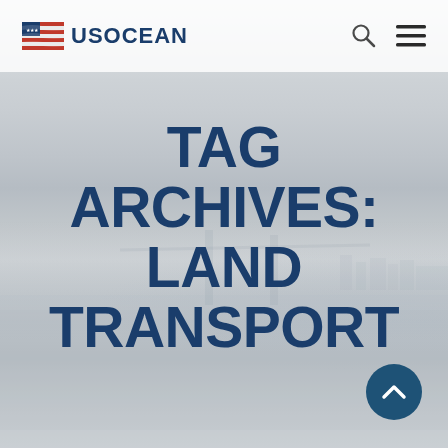[Figure (logo): USOCEAN logo with stylized US flag icon and text USOCEAN in dark blue]
TAG ARCHIVES: LAND TRANSPORT
[Figure (photo): Muted gray-toned background photo of a bay or harbor with a bridge silhouette and city skyline in the distance, and water in the foreground]